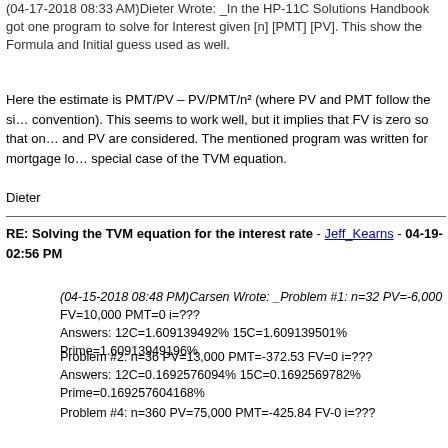(04-17-2018 08:33 AM)Dieter Wrote: _In the HP-11C Solutions Handbook got one program to solve for Interest given [n] [PMT] [PV]. This show the Formula and Initial guess used as well.
Here the estimate is PMT/PV – PV/PMT/n² (where PV and PMT follow the sign convention). This seems to work well, but it implies that FV is zero so that only PMT and PV are considered. The mentioned program was written for mortgage loans, a special case of the TVM equation.
Dieter
RE: Solving the TVM equation for the interest rate - Jeff_Kearns - 04-19- 02:56 PM
(04-15-2018 08:48 PM)Carsen Wrote: _Problem #1: n=32 PV=-6,000 FV=10,000 PMT=0 i=???
Answers: 12C=1.609139492% 15C=1.609139501%
Prime=1.60913949196%
Problem #2: n=36 PV=13,000 PMT=-372.53 FV=0 i=???
Answers: 12C=0.1692576094% 15C=0.1692569782%
Prime=0.169257604168%
Problem #3: n=36 PV=5,750 PMT=-176.89 FV=0 i=???
Answers: 12C=0.56266017270% 15C=0.5626013555%
Prime=0.562601726101%
Problem #4: n=360 PV=75,000 PMT=-425.84 FV-0 i=???